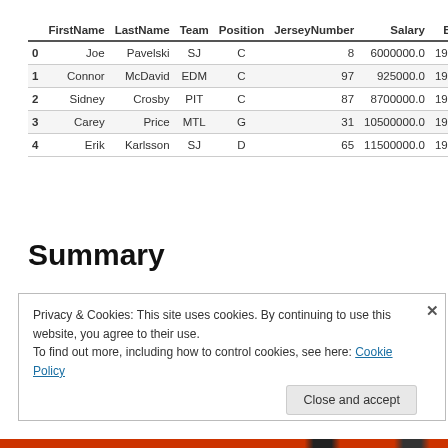|  | FirstName | LastName | Team | Position | JerseyNumber | Salary | Birthdate |
| --- | --- | --- | --- | --- | --- | --- | --- |
| 0 | Joe | Pavelski | SJ | C | 8 | 6000000.0 | 1984-07-11 |
| 1 | Connor | McDavid | EDM | C | 97 | 925000.0 | 1997-01-13 |
| 2 | Sidney | Crosby | PIT | C | 87 | 8700000.0 | 1987-08-07 |
| 3 | Carey | Price | MTL | G | 31 | 10500000.0 | 1987-08-16 |
| 4 | Erik | Karlsson | SJ | D | 65 | 11500000.0 | 1990-05-31 |
Summary
Privacy & Cookies: This site uses cookies. By continuing to use this website, you agree to their use.
To find out more, including how to control cookies, see here: Cookie Policy